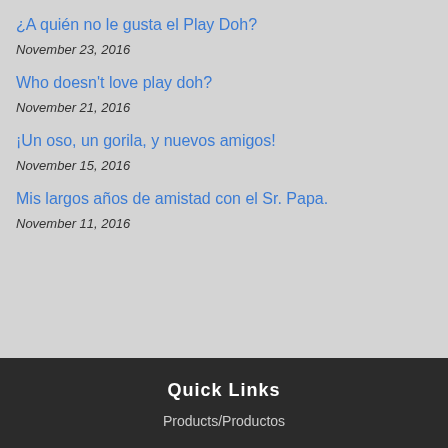¿A quién no le gusta el Play Doh?
November 23, 2016
Who doesn't love play doh?
November 21, 2016
¡Un oso, un gorila, y nuevos amigos!
November 15, 2016
Mis largos años de amistad con el Sr. Papa.
November 11, 2016
Quick Links
Products/Productos